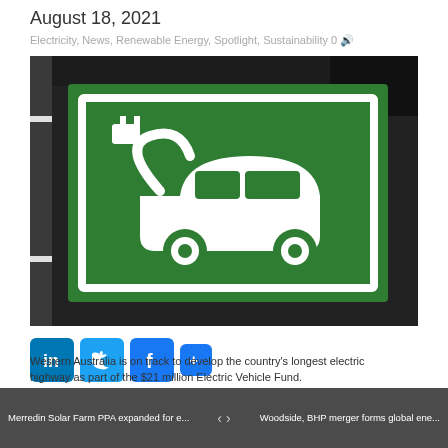August 18, 2021
Electricity, News, Renewable Energy, Spotlight, Sustainability 0
[Figure (photo): Photograph of an electric vehicle charging symbol painted on asphalt pavement — a white car with a charging plug icon on a green square background with white border]
[Figure (infographic): Social sharing buttons: LinkedIn (blue), Twitter (blue), Facebook (blue), and a plus (+) button]
Western Australia is on track to develop the country's longest electric highway as part of the $21 million Electric Vehicle Fund.
Merredin Solar Farm PPA expanded for e... | < > | Woodside, BHP merger forms global ene...